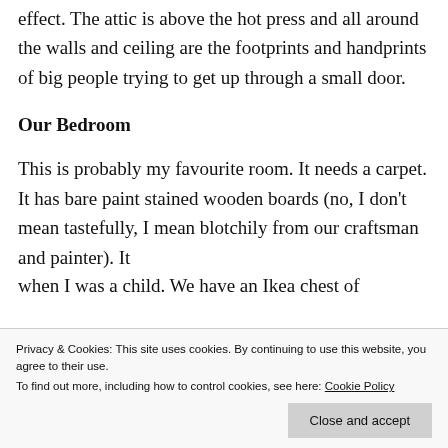effect. The attic is above the hot press and all around the walls and ceiling are the footprints and handprints of big people trying to get up through a small door.
Our Bedroom
This is probably my favourite room. It needs a carpet. It has bare paint stained wooden boards (no, I don't mean tastefully, I mean blotchily from our craftsman and painter). It
Privacy & Cookies: This site uses cookies. By continuing to use this website, you agree to their use.
To find out more, including how to control cookies, see here: Cookie Policy
when I was a child. We have an Ikea chest of